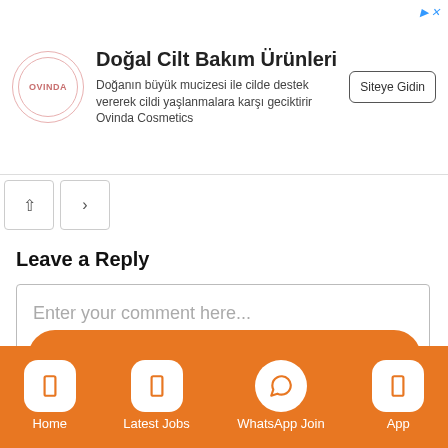[Figure (illustration): Advertisement banner for Ovinda Cosmetics (Doğal Cilt Bakım Ürünleri) with logo, description text, and Siteye Gidin button]
[Figure (illustration): Navigation arrows (up and right) for pagination]
Leave a Reply
Enter your comment here...
DISCLAIMER
[Figure (screenshot): Bottom navigation bar with Home, Latest Jobs, WhatsApp Join, App icons on orange background]